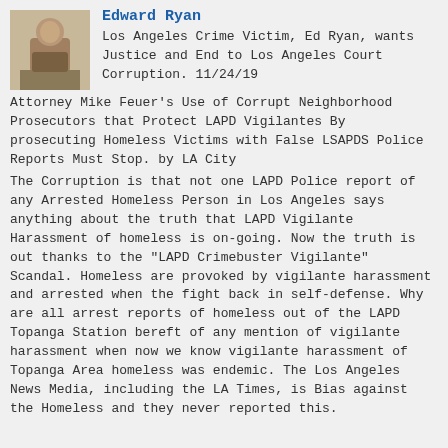Edward Ryan
Los Angeles Crime Victim, Ed Ryan, wants Justice and End to Los Angeles Court Corruption. 11/24/19
Attorney Mike Feuer's Use of Corrupt Neighborhood Prosecutors that Protect LAPD Vigilantes By prosecuting Homeless Victims with False LSAPDS Police Reports Must Stop. by LA City
The Corruption is that not one LAPD Police report of any Arrested Homeless Person in Los Angeles says anything about the truth that LAPD Vigilante Harassment of homeless is on-going. Now the truth is out thanks to the “LAPD Crimebuster Vigilante” Scandal. Homeless are provoked by vigilante harassment and arrested when the fight back in self-defense. Why are all arrest reports of homeless out of the LAPD Topanga Station bereft of any mention of vigilante harassment when now we know vigilante harassment of Topanga Area homeless was endemic. The Los Angeles News Media, including the LA Times, is Bias against the Homeless and they never reported this.